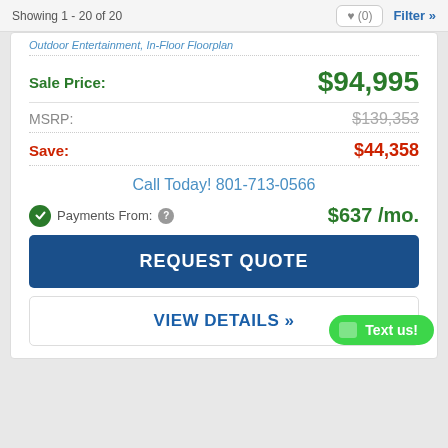Showing 1 - 20 of 20
Outdoor Entertainment, In-Floor Floorplan
| Label | Value |
| --- | --- |
| Sale Price: | $94,995 |
| MSRP: | $139,353 |
| Save: | $44,358 |
Call Today! 801-713-0566
Payments From: $637 /mo.
REQUEST QUOTE
VIEW DETAILS »
Text us!